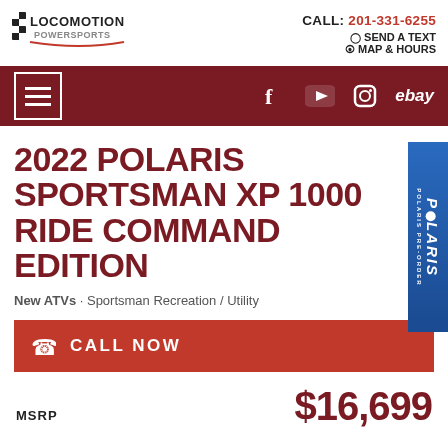[Figure (logo): Locomotion Powersports logo with checkered flag motif and stylized text]
CALL: 201-331-6255
SEND A TEXT
MAP & HOURS
[Figure (infographic): Dark red navigation bar with hamburger menu icon on left and social media icons (Facebook, YouTube, Instagram, eBay) on right]
2022 POLARIS SPORTSMAN XP 1000 RIDE COMMAND EDITION
New ATVs · Sportsman Recreation / Utility
CALL NOW
MSRP
$16,699